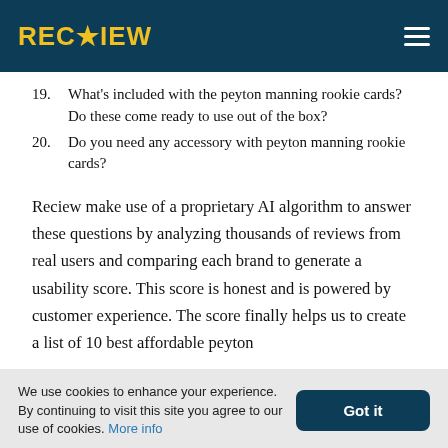RECIEW
19. What's included with the peyton manning rookie cards? Do these come ready to use out of the box?
20. Do you need any accessory with peyton manning rookie cards?
Reciew make use of a proprietary AI algorithm to answer these questions by analyzing thousands of reviews from real users and comparing each brand to generate a usability score. This score is honest and is powered by customer experience. The score finally helps us to create a list of 10 best affordable peyton
We use cookies to enhance your experience. By continuing to visit this site you agree to our use of cookies. More info